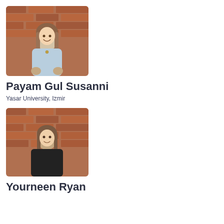[Figure (photo): Portrait photo of Payam Gul Susanni standing in front of a brick wall, wearing a light blue sweatshirt]
Payam Gul Susanni
Yasar University, Izmir
[Figure (photo): Portrait photo of Yourneen Ryan standing in front of a brick wall, wearing a black top]
Yourneen Ryan